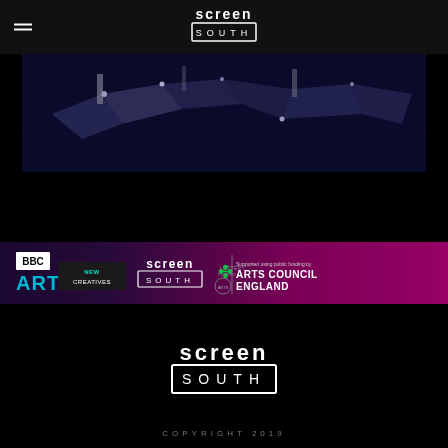[Figure (logo): Screen South logo at top of page navigation header]
[Figure (photo): Dark blue/purple hero image showing abstract geometric shapes resembling screens or panels lit with light points, viewed from above]
[Figure (logo): Sponsors banner featuring BBC Arts New Creatives logo, Screen South logo, National Lottery Funded logo, and Arts Council England logo on purple/magenta gradient background]
[Figure (logo): Screen South logo centered in footer area]
COPYRIGHT 2019